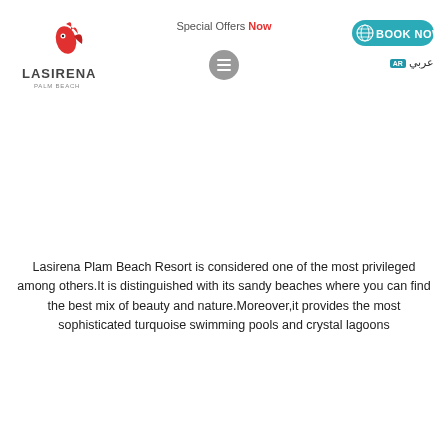[Figure (logo): Lasirena Palm Beach logo with red flame/fish figure and text LASIRENA PALM BEACH]
Special Offers Now
[Figure (other): Hamburger/menu icon, grey circle with three horizontal lines]
[Figure (other): BOOK NOW button with teal/green background and globe icon]
عربي (Arabic language selector with flag icon)
Lasirena Plam Beach Resort is considered one of the most privileged among others.It is distinguished with its sandy beaches where you can find the best mix of beauty and nature.Moreover,it provides the most sophisticated turquoise swimming pools and crystal lagoons